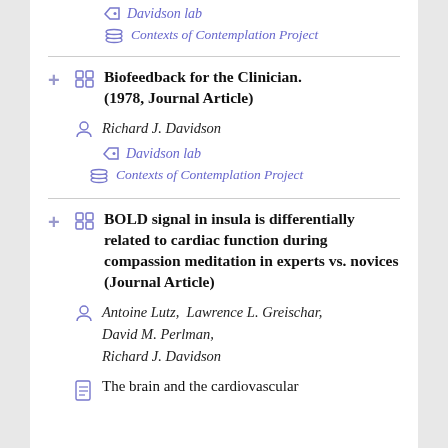Davidson lab
Contexts of Contemplation Project
Biofeedback for the Clinician. (1978, Journal Article)
Richard J. Davidson
Davidson lab
Contexts of Contemplation Project
BOLD signal in insula is differentially related to cardiac function during compassion meditation in experts vs. novices (Journal Article)
Antoine Lutz,  Lawrence L. Greischar,  David M. Perlman,  Richard J. Davidson
The brain and the cardiovascular